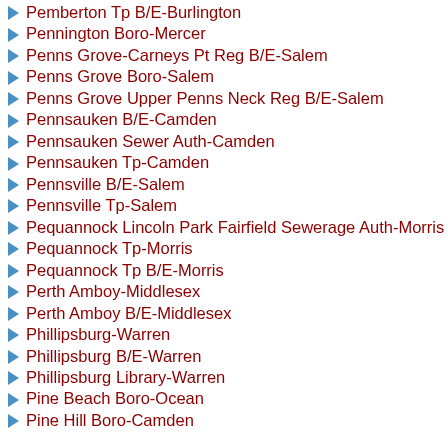Pemberton Tp B/E-Burlington
Pennington Boro-Mercer
Penns Grove-Carneys Pt Reg B/E-Salem
Penns Grove Boro-Salem
Penns Grove Upper Penns Neck Reg B/E-Salem
Pennsauken B/E-Camden
Pennsauken Sewer Auth-Camden
Pennsauken Tp-Camden
Pennsville B/E-Salem
Pennsville Tp-Salem
Pequannock Lincoln Park Fairfield Sewerage Auth-Morris
Pequannock Tp-Morris
Pequannock Tp B/E-Morris
Perth Amboy-Middlesex
Perth Amboy B/E-Middlesex
Phillipsburg-Warren
Phillipsburg B/E-Warren
Phillipsburg Library-Warren
Pine Beach Boro-Ocean
Pine Hill Boro-Camden